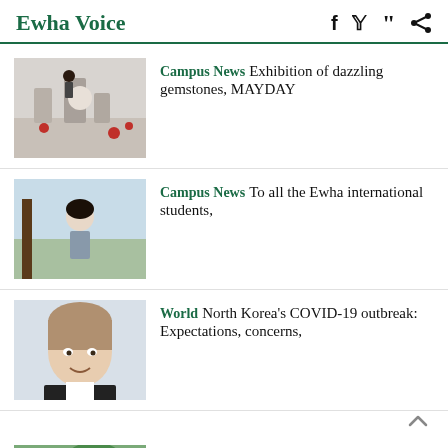Ewha Voice
Campus News  Exhibition of dazzling gemstones, MAYDAY
Campus News  To all the Ewha international students,
World  North Korea's COVID-19 outbreak: Expectations, concerns,
Speak Your Opinion  My Brain